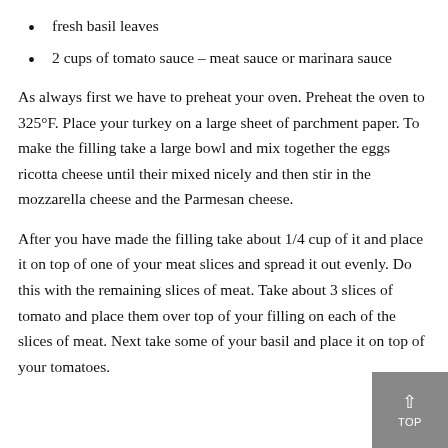sliced thin
fresh basil leaves
2 cups of tomato sauce – meat sauce or marinara sauce
As always first we have to preheat your oven. Preheat the oven to 325°F. Place your turkey on a large sheet of parchment paper. To make the filling take a large bowl and mix together the eggs ricotta cheese until their mixed nicely and then stir in the mozzarella cheese and the Parmesan cheese.
After you have made the filling take about 1/4 cup of it and place it on top of one of your meat slices and spread it out evenly. Do this with the remaining slices of meat. Take about 3 slices of tomato and place them over top of your filling on each of the slices of meat. Next take some of your basil and place it on top of your tomatoes.